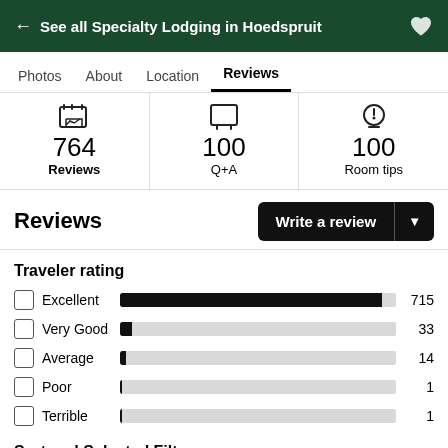← See all Specialty Lodging in Hoedspruit
Photos  About  Location  Reviews
764 Reviews | 100 Q+A | 100 Room tips
Reviews
Traveler rating
[Figure (bar-chart): Traveler rating]
Sort and Selected Filters